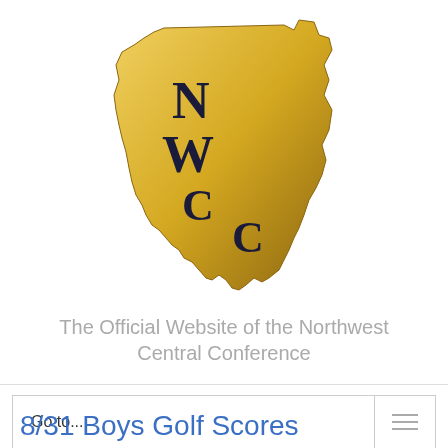[Figure (logo): NWCC logo: gold silhouette of Ohio state with letters N, W, C, C overlaid in dark serif font]
The Official Website of the Northwest Central Conference
Go to...
8/31 Boys Golf Scores